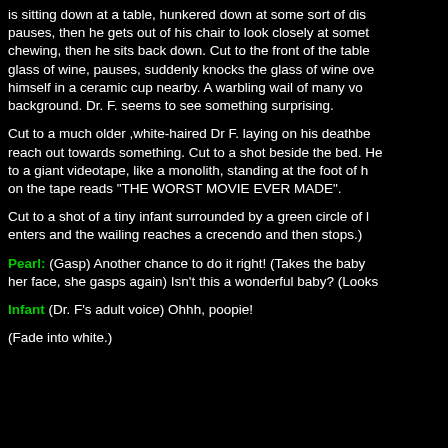is sitting down at a table, hunkered down at some sort of dish pauses, then he gets out of his chair to look closely at something chewing, then he sits back down. Cut to the front of the table glass of wine, pauses, suddenly knocks the glass of wine over himself in a ceramic cup nearby. A warbling wail of many voices background. Dr. F. seems to see something surprising.
Cut to a much older ,white-haired Dr F. laying on his deathbed reach out towards something. Cut to a shot beside the bed. He to a giant videotape, like a monolith, standing at the foot of his bed on the tape reads "THE WORST MOVIE EVER MADE".
Cut to a shot of a tiny infant surrounded by a green circle of light enters and the wailing reaches a crecendo and then stops.)
Pearl: (Gasp) Another chance to do it right! (Takes the baby her face, she gasps again) Isn't this a wonderful baby? (Looks
Infant (Dr. F's adult voice) Ohhh, poopie!
(Fade into white.)